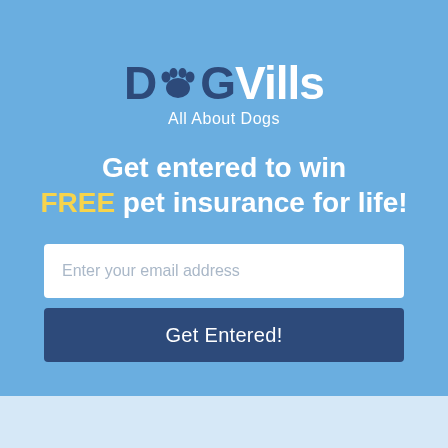[Figure (logo): DogVills logo with paw print icon replacing the letter 'o', dark navy text for 'D' and 'G', white text for 'Vills', with tagline 'All About Dogs' in white below]
Get entered to win FREE pet insurance for life!
Enter your email address
Get Entered!